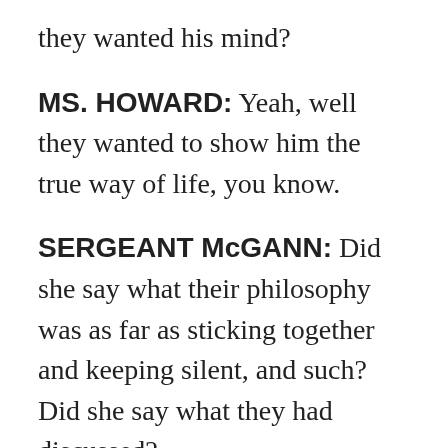they wanted his mind?
MS. HOWARD: Yeah, well they wanted to show him the true way of life, you know.
SERGEANT McGANN: Did she say what their philosophy was as far as sticking together and keeping silent, and such? Did she say what they had discussed?
MS. HOWARD: Well, they call themselves a family. Whenever a